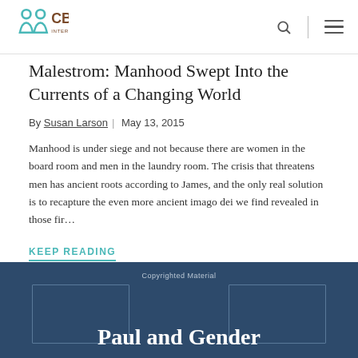CBE International
Malestrom: Manhood Swept Into the Currents of a Changing World
By Susan Larson | May 13, 2015
Manhood is under siege and not because there are women in the board room and men in the laundry room. The crisis that threatens men has ancient roots according to James, and the only real solution is to recapture the even more ancient imago dei we find revealed in those fir…
KEEP READING
[Figure (illustration): Book cover preview showing 'Paul and Gender' title text on a dark blue background with decorative border elements and 'Copyrighted Material' watermark]